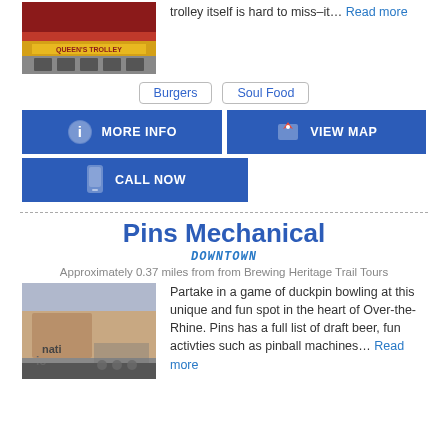[Figure (photo): Photo of a trolley restaurant with red brick building and yellow awning]
trolley itself is hard to miss–it… Read more
Burgers
Soul Food
MORE INFO
VIEW MAP
CALL NOW
Pins Mechanical
DOWNTOWN
Approximately 0.37 miles from from Brewing Heritage Trail Tours
[Figure (photo): Photo of Pins Mechanical exterior with people sitting outside]
Partake in a game of duckpin bowling at this unique and fun spot in the heart of Over-the-Rhine. Pins has a full list of draft beer, fun activties such as pinball machines… Read more